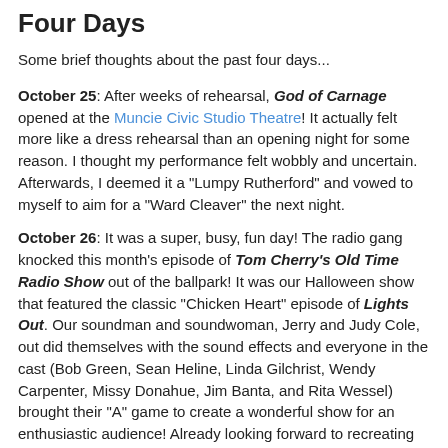Four Days
Some brief thoughts about the past four days...
October 25: After weeks of rehearsal, God of Carnage opened at the Muncie Civic Studio Theatre! It actually felt more like a dress rehearsal than an opening night for some reason. I thought my performance felt wobbly and uncertain. Afterwards, I deemed it a "Lumpy Rutherford" and vowed to myself to aim for a "Ward Cleaver" the next night.
October 26: It was a super, busy, fun day! The radio gang knocked this month's episode of Tom Cherry's Old Time Radio Show out of the ballpark! It was our Halloween show that featured the classic "Chicken Heart" episode of Lights Out. Our soundman and soundwoman, Jerry and Judy Cole, out did themselves with the sound effects and everyone in the cast (Bob Green, Sean Heline, Linda Gilchrist, Wendy Carpenter, Missy Donahue, Jim Banta, and Rita Wessel) brought their "A" game to create a wonderful show for an enthusiastic audience! Already looking forward to recreating the magic for November's show...